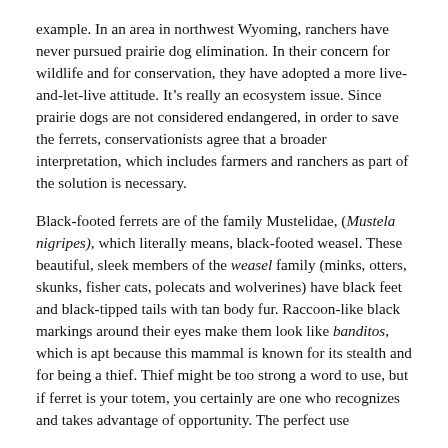example. In an area in northwest Wyoming, ranchers have never pursued prairie dog elimination. In their concern for wildlife and for conservation, they have adopted a more live-and-let-live attitude. It’s really an ecosystem issue. Since prairie dogs are not considered endangered, in order to save the ferrets, conservationists agree that a broader interpretation, which includes farmers and ranchers as part of the solution is necessary.
Black-footed ferrets are of the family Mustelidae, (Mustela nigripes), which literally means, black-footed weasel. These beautiful, sleek members of the weasel family (minks, otters, skunks, fisher cats, polecats and wolverines) have black feet and black-tipped tails with tan body fur. Raccoon-like black markings around their eyes make them look like banditos, which is apt because this mammal is known for its stealth and for being a thief. Thief might be too strong a word to use, but if ferret is your totem, you certainly are one who recognizes and takes advantage of opportunity. The perfect use